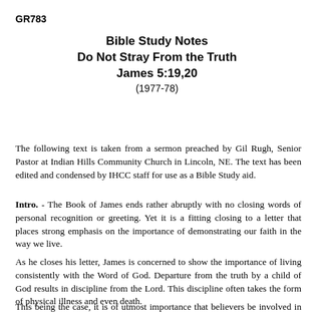GR783
Bible Study Notes
Do Not Stray From the Truth
James 5:19,20
(1977-78)
The following text is taken from a sermon preached by Gil Rugh, Senior Pastor at Indian Hills Community Church in Lincoln, NE. The text has been edited and condensed by IHCC staff for use as a Bible Study aid.
Intro. - The Book of James ends rather abruptly with no closing words of personal recognition or greeting. Yet it is a fitting closing to a letter that places strong emphasis on the importance of demonstrating our faith in the way we live.
As he closes his letter, James is concerned to show the importance of living consistently with the Word of God. Departure from the truth by a child of God results in discipline from the Lord. This discipline often takes the form of physical illness and even death.
This being the case, it is of utmost importance that believers be involved in restoring the walks of others who have wandered from